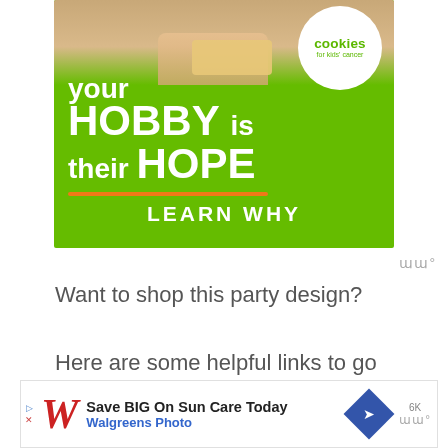[Figure (illustration): Advertisement banner for 'Cookies for Kids' Cancer' on a green background. Shows hands holding a cookie/sponge, a white circle with 'cookies for kids' cancer' logo, and white bold text reading 'your HOBBY is their HOPE' with an orange underline and 'LEARN WHY' in white.]
Want to shop this party design? Here are some helpful links to go straight to your favorite items!
[Figure (illustration): Walgreens advertisement banner: red italic W logo, text 'Save BIG On Sun Care Today' in bold, 'Walgreens Photo' in blue, a blue diamond arrow icon, and Moat measurement icon on the right.]